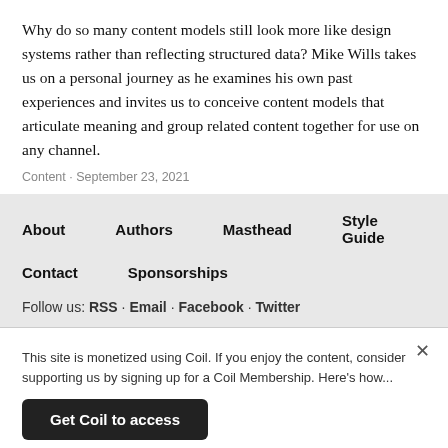Why do so many content models still look more like design systems rather than reflecting structured data? Mike Wills takes us on a personal journey as he examines his own past experiences and invites us to conceive content models that articulate meaning and group related content together for use on any channel.
Content · September 23, 2021
About
Authors
Masthead
Style Guide
Contact
Sponsorships
Follow us: RSS · Email · Facebook · Twitter
This site is monetized using Coil. If you enjoy the content, consider supporting us by signing up for a Coil Membership. Here's how...
Get Coil to access